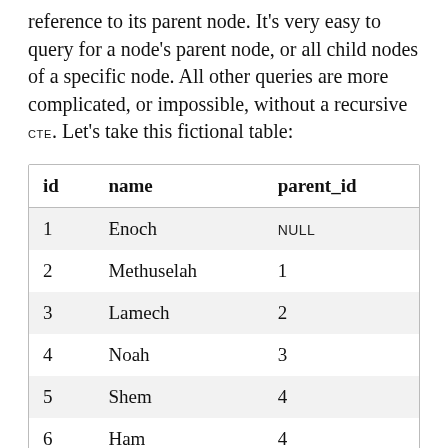reference to its parent node. It's very easy to query for a node's parent node, or all child nodes of a specific node. All other queries are more complicated, or impossible, without a recursive CTE. Let's take this fictional table:
| id | name | parent_id |
| --- | --- | --- |
| 1 | Enoch | NULL |
| 2 | Methuselah | 1 |
| 3 | Lamech | 2 |
| 4 | Noah | 3 |
| 5 | Shem | 4 |
| 6 | Ham | 4 |
| 7 | Japeth | 4 |
To get all children of Noah: